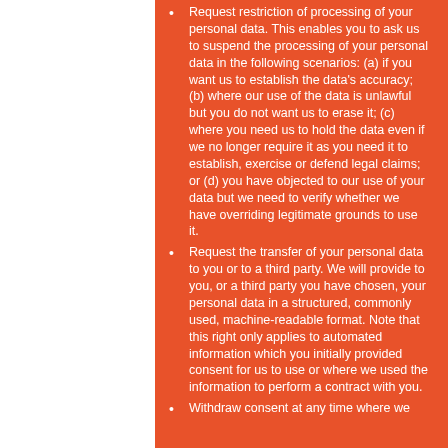Request restriction of processing of your personal data. This enables you to ask us to suspend the processing of your personal data in the following scenarios: (a) if you want us to establish the data's accuracy; (b) where our use of the data is unlawful but you do not want us to erase it; (c) where you need us to hold the data even if we no longer require it as you need it to establish, exercise or defend legal claims; or (d) you have objected to our use of your data but we need to verify whether we have overriding legitimate grounds to use it.
Request the transfer of your personal data to you or to a third party. We will provide to you, or a third party you have chosen, your personal data in a structured, commonly used, machine-readable format. Note that this right only applies to automated information which you initially provided consent for us to use or where we used the information to perform a contract with you.
Withdraw consent at any time where we